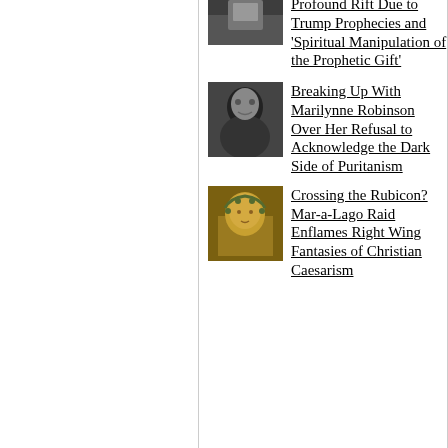Profound Rift Due to Trump Prophecies and 'Spiritual Manipulation of the Prophetic Gift'
Breaking Up With Marilynne Robinson Over Her Refusal to Acknowledge the Dark Side of Puritanism
Crossing the Rubicon? Mar-a-Lago Raid Enflames Right Wing Fantasies of Christian Caesarism